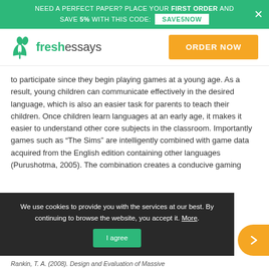NEED A PERFECT PAPER? PLACE YOUR FIRST ORDER AND SAVE 5% WITH THIS CODE: SAVE5NOW
[Figure (logo): FreshEssays logo with green book icon and 'freshessays' wordmark, with orange ORDER NOW button]
to participate since they begin playing games at a young age. As a result, young children can communicate effectively in the desired language, which is also an easier task for parents to teach their children. Once children learn languages at an early age, it makes it easier to understand other core subjects in the classroom. Importantly games such as “The Sims” are intelligently combined with game data acquired from the English edition containing other languages (Purushotma, 2005). The combination creates a conducive gaming
We use cookies to provide you with the services at our best. By continuing to browse the website, you accept it. More.
Rankin, T. A. (2008). Design and Evaluation of Massive